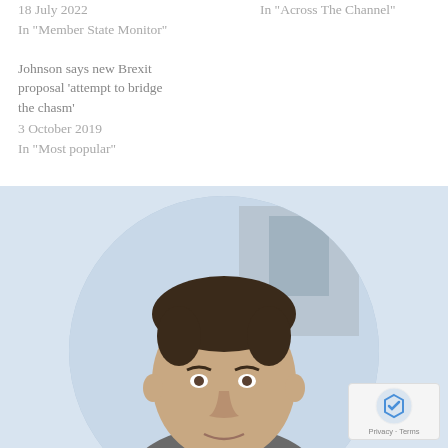18 July 2022
In "Member State Monitor"
Johnson says new Brexit proposal 'attempt to bridge the chasm'
3 October 2019
In "Most popular"
In "Across The Channel"
[Figure (photo): Circular cropped portrait photo of a man with short dark hair, outdoors, in front of a building. Displayed on a light blue background.]